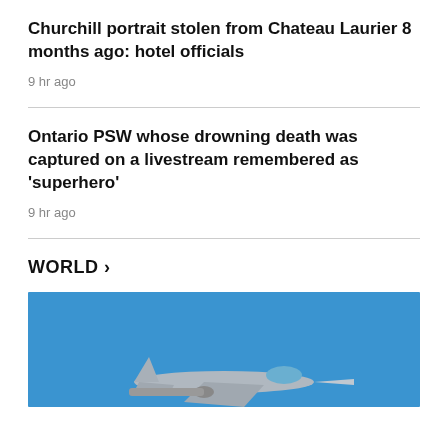Churchill portrait stolen from Chateau Laurier 8 months ago: hotel officials
9 hr ago
Ontario PSW whose drowning death was captured on a livestream remembered as 'superhero'
9 hr ago
WORLD >
[Figure (photo): A military jet aircraft flying against a blue sky, viewed from the side, partially visible at the bottom of the image.]